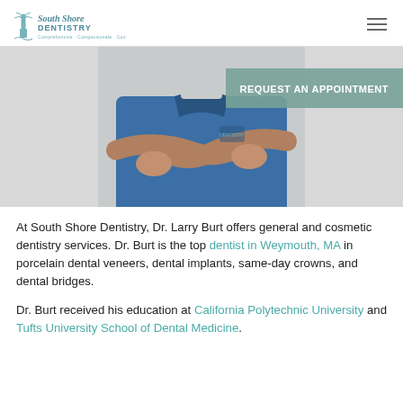South Shore Dentistry — Comprehensive, Compassionate, Convenient
[Figure (photo): Photo of a dentist in blue scrubs with arms crossed, with a 'REQUEST AN APPOINTMENT' teal banner overlay]
At South Shore Dentistry, Dr. Larry Burt offers general and cosmetic dentistry services. Dr. Burt is the top dentist in Weymouth, MA in porcelain dental veneers, dental implants, same-day crowns, and dental bridges.
Dr. Burt received his education at California Polytechnic University and Tufts University School of Dental Medicine.